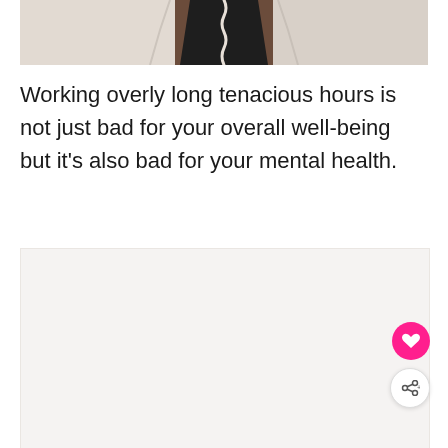[Figure (photo): Partial view of a person wearing a light beige/cream jacket over a dark top, with a decorative wavy/squiggly vertical element, cropped at the torso level]
Working overly long tenacious hours is not just bad for your overall well-being but it's also bad for your mental health.
[Figure (photo): A second photo area, mostly light gray/beige background, partially visible at the bottom of the page]